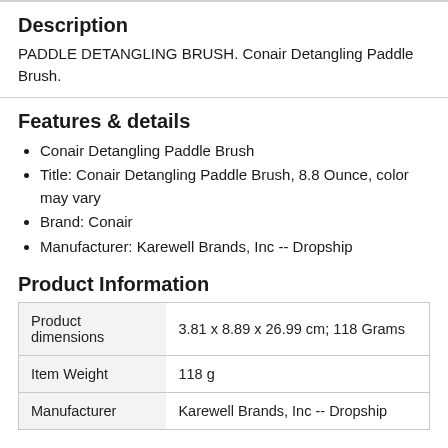Description
PADDLE DETANGLING BRUSH. Conair Detangling Paddle Brush.
Features & details
Conair Detangling Paddle Brush
Title: Conair Detangling Paddle Brush, 8.8 Ounce, color may vary
Brand: Conair
Manufacturer: Karewell Brands, Inc -- Dropship
Product Information
|  |  |
| --- | --- |
| Product dimensions | 3.81 x 8.89 x 26.99 cm; 118 Grams |
| Item Weight | 118 g |
| Manufacturer | Karewell Brands, Inc -- Dropship |